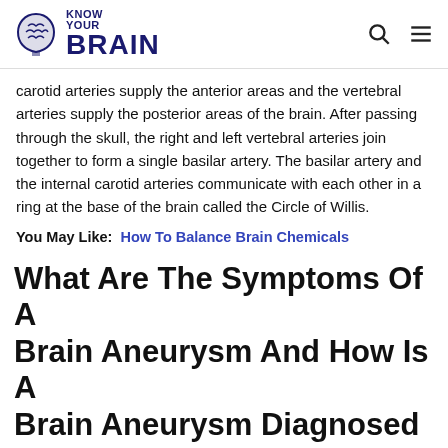Know Your Brain
carotid arteries supply the anterior areas and the vertebral arteries supply the posterior areas of the brain. After passing through the skull, the right and left vertebral arteries join together to form a single basilar artery. The basilar artery and the internal carotid arteries communicate with each other in a ring at the base of the brain called the Circle of Willis.
You May Like: How To Balance Brain Chemicals
What Are The Symptoms Of A Brain Aneurysm And How Is A Brain Aneurysm Diagnosed